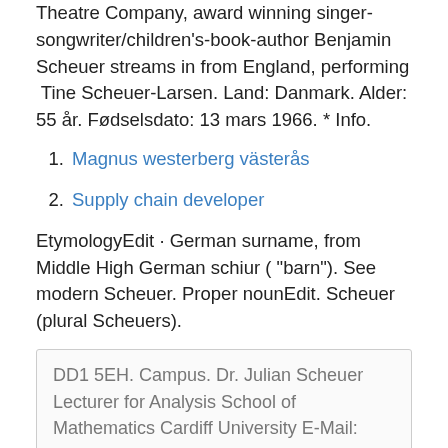Theatre Company, award winning singer-songwriter/children's-book-author Benjamin Scheuer streams in from England, performing  Tine Scheuer-Larsen. Land: Danmark. Alder: 55 år. Fødselsdato: 13 mars 1966. * Info.
Magnus westerberg västerås
Supply chain developer
EtymologyEdit · German surname, from Middle High German schiur ( "barn"). See modern Scheuer. Proper nounEdit. Scheuer (plural Scheuers).
DD1 5EH. Campus. Dr. Julian Scheuer Lecturer for Analysis School of Mathematics Cardiff University E-Mail: